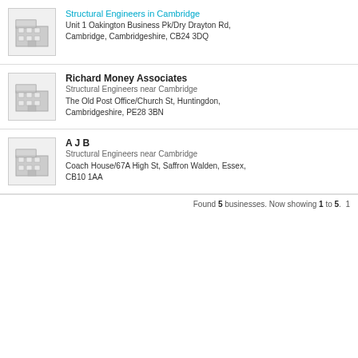Structural Engineers in Cambridge
Unit 1 Oakington Business Pk/Dry Drayton Rd, Cambridge, Cambridgeshire, CB24 3DQ
Richard Money Associates
Structural Engineers near Cambridge
The Old Post Office/Church St, Huntingdon, Cambridgeshire, PE28 3BN
A J B
Structural Engineers near Cambridge
Coach House/67A High St, Saffron Walden, Essex, CB10 1AA
Found 5 businesses. Now showing 1 to 5.  1